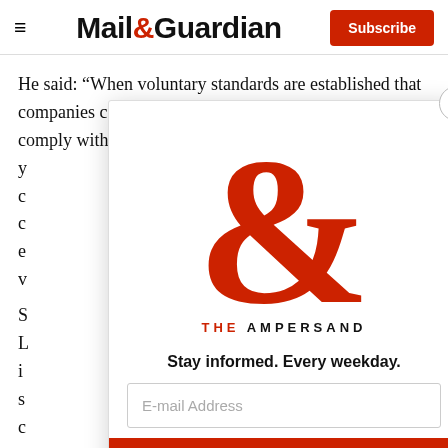Mail&Guardian — Subscribe
He said: “When voluntary standards are established that companies can choose to abide by, but some don’t comply with them because there are no consequences, y... c... c... e... v...
S... L... i... s... c...
[Figure (logo): The Ampersand newsletter logo — a large red ampersand symbol with 'THE AMPERSAND' text]
Stay informed. Every weekday.
E-mail Address
Signup now